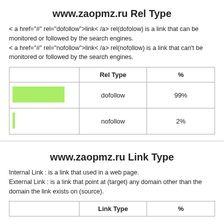www.zaopmz.ru Rel Type
< a href="#" rel="dofollow">link< /a> rel(dofolow) is a link that can be monitored or followed by the search engines.
< a href="#" rel="nofollow">link< /a> rel(nofollow) is a link that can't be monitored or followed by the search engines.
|  | Rel Type | % |
| --- | --- | --- |
| [green bar] | dofollow | 99% |
| [thin green bar] | nofollow | 2% |
www.zaopmz.ru Link Type
Internal Link : is a link that used in a web page.
External Link : is a link that point at (target) any domain other than the domain the link exists on (source).
|  | Link Type | % |
| --- | --- | --- |